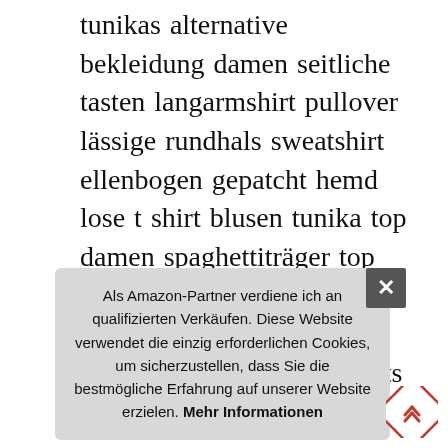tunikas alternative bekleidung damen seitliche tasten langarmshirt pullover lässige rundhals sweatshirt ellenbogen gepatcht hemd lose t shirt blusen tunika top damen spaghettiträger top camisole bauchfrei top mit spitze leibchen crop top damen oberteil damen shirts ärmellose sommer tunika loose fit tank tops damen t-shirt blau deep navy damen w nk one df ss std top
Als Amazon-Partner verdiene ich an qualifizierten Verkäufen. Diese Website verwendet die einzig erforderlichen Cookies, um sicherzustellen, dass Sie die bestmögliche Erfahrung auf unserer Website erzielen. Mehr Informationen
Hersteller | damen uhren